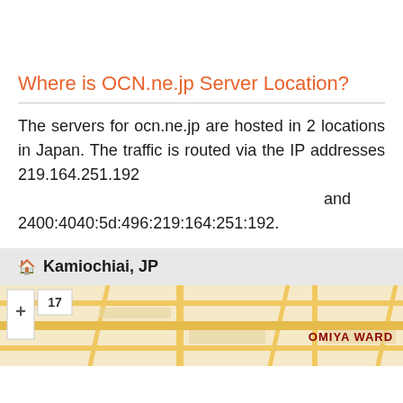Where is OCN.ne.jp Server Location?
The servers for ocn.ne.jp are hosted in 2 locations in Japan. The traffic is routed via the IP addresses 219.164.251.192 and 2400:4040:5d:496:219:164:251:192.
🏠 Kamiochiai, JP
[Figure (map): Street map showing Omiya Ward area with zoom controls showing level 17]